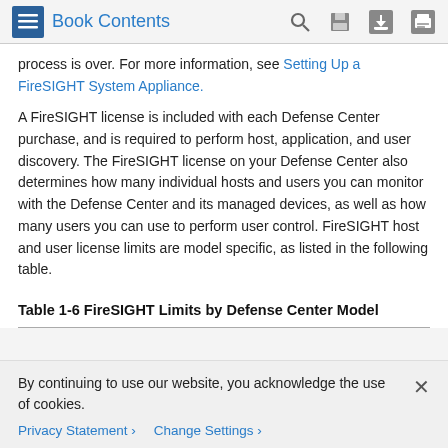Book Contents
process is over. For more information, see Setting Up a FireSIGHT System Appliance.
A FireSIGHT license is included with each Defense Center purchase, and is required to perform host, application, and user discovery. The FireSIGHT license on your Defense Center also determines how many individual hosts and users you can monitor with the Defense Center and its managed devices, as well as how many users you can use to perform user control. FireSIGHT host and user license limits are model specific, as listed in the following table.
Table 1-6 FireSIGHT Limits by Defense Center Model
| Defense Center Model | FireSIGHT Host and User Limit |
| --- | --- |
| DC500 | 1000 (approximately) |
By continuing to use our website, you acknowledge the use of cookies.
Privacy Statement > Change Settings >